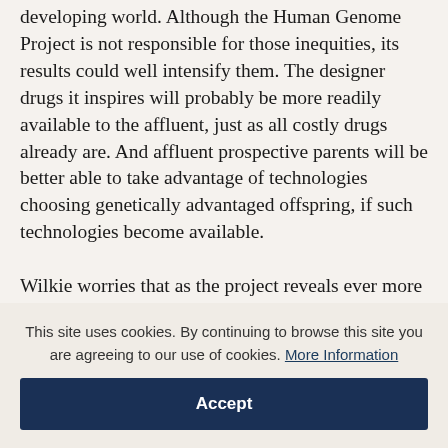developing world. Although the Human Genome Project is not responsible for those inequities, its results could well intensify them. The designer drugs it inspires will probably be more readily available to the affluent, just as all costly drugs already are. And affluent prospective parents will be better able to take advantage of technologies choosing genetically advantaged offspring, if such technologies become available.
Wilkie worries that as the project reveals ever more human genetic differences, it may create new...
This site uses cookies. By continuing to browse this site you are agreeing to our use of cookies. More Information
Accept